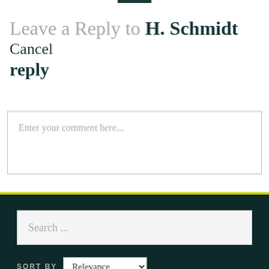Leave a Reply to H. Schmidt Cancel reply
Enter your comment here...
Search ...
SORT BY Relevance